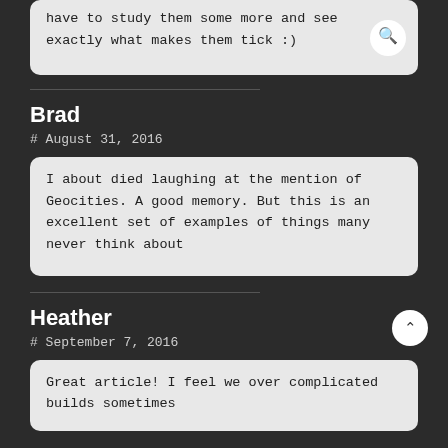have to study them some more and see exactly what makes them tick :)
Brad
# August 31, 2016
I about died laughing at the mention of Geocities. A good memory. But this is an excellent set of examples of things many never think about
Heather
# September 7, 2016
Great article! I feel we over complicated builds sometimes